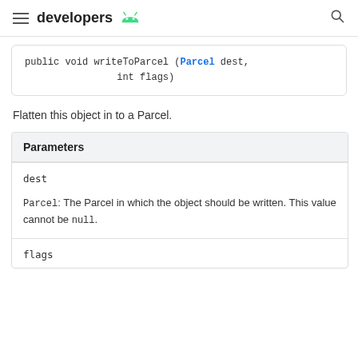developers
public void writeToParcel (Parcel dest,
                int flags)
Flatten this object in to a Parcel.
| Parameters |
| --- |
| dest | Parcel: The Parcel in which the object should be written. This value cannot be null. |
| flags |  |